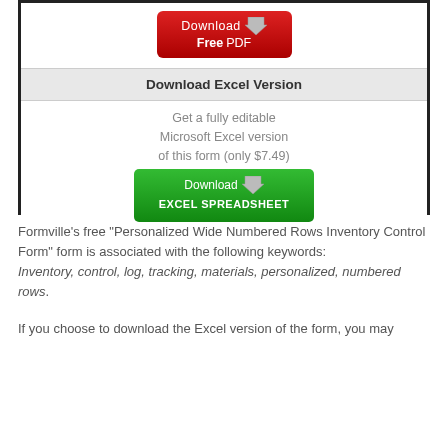[Figure (screenshot): A bordered box containing download options. Top section has a red 'Download Free PDF' button with a downward arrow icon. Middle section has a gray header 'Download Excel Version'. Bottom section shows text 'Get a fully editable Microsoft Excel version of this form (only $7.49)' and a green 'Download EXCEL SPREADSHEET' button with a downward arrow icon.]
Formville's free "Personalized Wide Numbered Rows Inventory Control Form" form is associated with the following keywords: Inventory, control, log, tracking, materials, personalized, numbered rows.
If you choose to download the Excel version of the form, you may